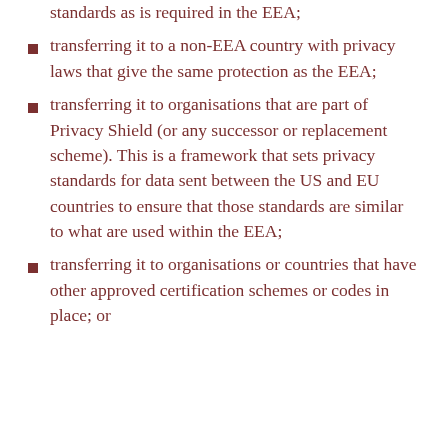standards as is required in the EEA;
transferring it to a non-EEA country with privacy laws that give the same protection as the EEA;
transferring it to organisations that are part of Privacy Shield (or any successor or replacement scheme). This is a framework that sets privacy standards for data sent between the US and EU countries to ensure that those standards are similar to what are used within the EEA;
transferring it to organisations or countries that have other approved certification schemes or codes in place; or